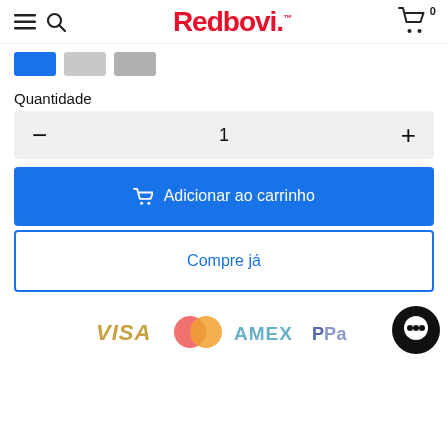Redbovi.
[Figure (other): Color swatches: blue (active), light gray, medium gray]
Quantidade
— 1 +
🛒 Adicionar ao carrinho
Compre já
[Figure (logo): Payment method logos: VISA, Mastercard, AMEX, PayPal, and chat overlay icon]